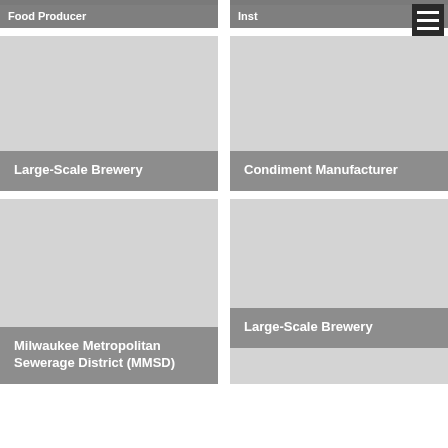[Figure (photo): Partially visible photo card labeled 'Food Producer' at top left]
[Figure (photo): Partially visible photo card (partially cropped title visible) at top right]
[Figure (photo): Photo card labeled 'Large-Scale Brewery' — left column middle row]
[Figure (photo): Photo card labeled 'Condiment Manufacturer' — right column middle row]
[Figure (photo): Photo card labeled 'Milwaukee Metropolitan Sewerage District (MMSD)' — left column bottom row]
[Figure (photo): Photo card labeled 'Large-Scale Brewery' — right column bottom row]